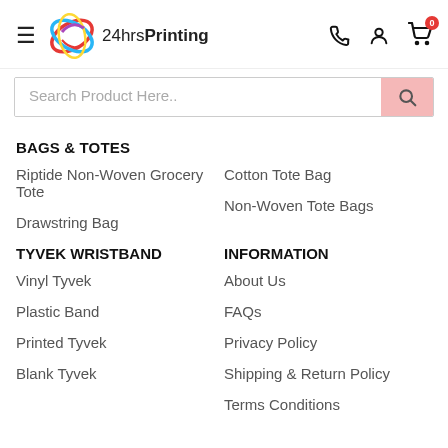[Figure (logo): 24hrs Printing logo with colorful circular swoosh graphic and text '24hrs Printing']
BAGS & TOTES
Riptide Non-Woven Grocery Tote
Cotton Tote Bag
Drawstring Bag
Non-Woven Tote Bags
TYVEK WRISTBAND
INFORMATION
Vinyl Tyvek
About Us
Plastic Band
FAQs
Printed Tyvek
Privacy Policy
Blank Tyvek
Shipping & Return Policy
Terms Conditions